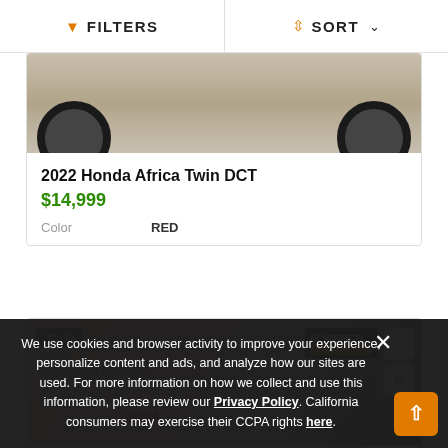FILTERS   SORT
[Figure (photo): Partial photo of a motorcycle showing wheels, cropped top portion of a Honda Africa Twin]
2022 Honda Africa Twin DCT
$14,999
| Color | RED |
| --- | --- |
[Figure (photo): Listing photo of a Honda motorcycle with McKibben Powersports dealer badge, Lake Wales FL 33853, 39 photos badge, heart and compare icons]
We use cookies and browser activity to improve your experience, personalize content and ads, and analyze how our sites are used. For more information on how we collect and use this information, please review our Privacy Policy. California consumers may exercise their CCPA rights here.